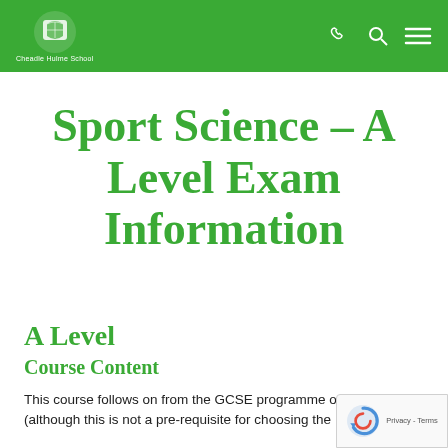Cheadle Hulme School
Sport Science – A Level Exam Information
A Level
Course Content
This course follows on from the GCSE programme of study (although this is not a pre-requisite for choosing the